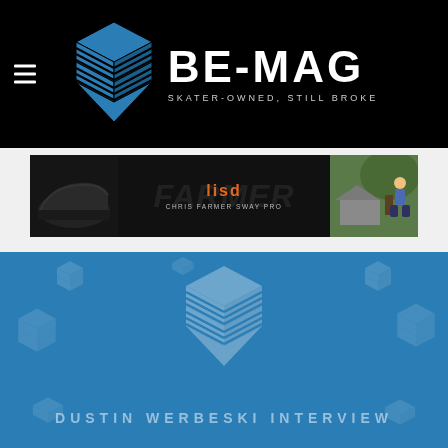[Figure (logo): BE-MAG logo with blue stacked box icon and white text reading BE-MAG, subtitle SKATER-OWNED, STILL BROKE on black background]
[Figure (photo): Advertisement banner for LISD Chris Farmer Sway Pro shoe, showing shoe on left, LISD logo and product name in center, skater on right, dark background]
[Figure (illustration): Blue background section with repeated semi-transparent BE-MAG logo watermarks, large centered BE-MAG cube logo, and text DUSTIN WERBESKI INTERVIEW]